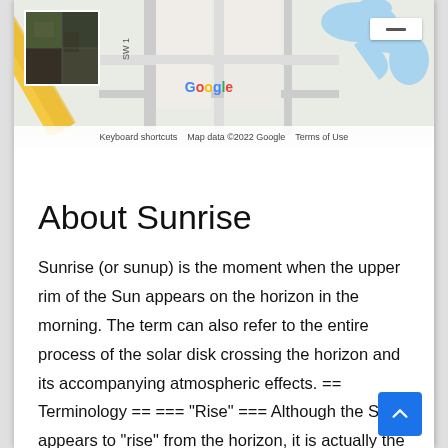[Figure (map): Google Maps screenshot showing a street/satellite hybrid map view with road intersections, blue water features, and a satellite thumbnail in the top-left corner. Map data ©2022 Google.]
About Sunrise
Sunrise (or sunup) is the moment when the upper rim of the Sun appears on the horizon in the morning. The term can also refer to the entire process of the solar disk crossing the horizon and its accompanying atmospheric effects. == Terminology == === "Rise" === Although the Sun appears to "rise" from the horizon, it is actually the Earth's motion that causes the Sun to appear. The illusion of a moving Sun results from Earth observers